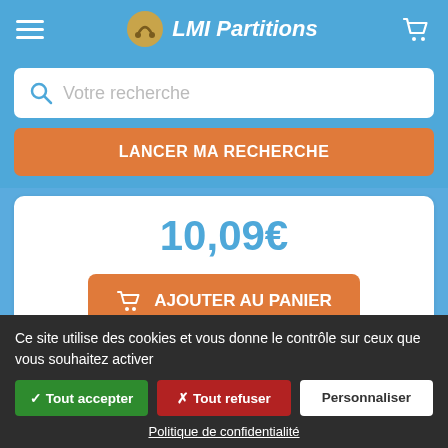LMI Partitions
Votre recherche
LANCER MA RECHERCHE
10,09€
AJOUTER AU PANIER
[Figure (screenshot): Music sheet score thumbnail showing two staves with notes]
Ce site utilise des cookies et vous donne le contrôle sur ceux que vous souhaitez activer
✓ Tout accepter
✗ Tout refuser
Personnaliser
Politique de confidentialité